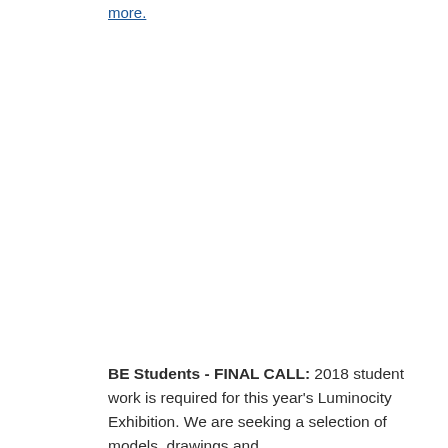more.
BE Students - FINAL CALL: 2018 student work is required for this year's Luminocity Exhibition. We are seeking a selection of models, drawings and